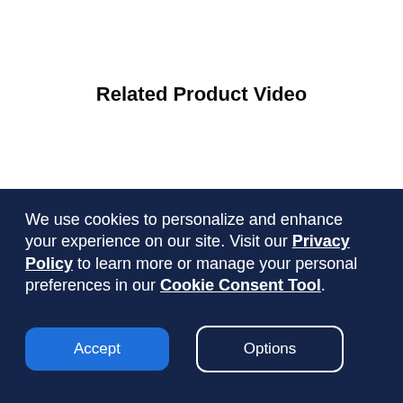Related Product Video
We use cookies to personalize and enhance your experience on our site. Visit our Privacy Policy to learn more or manage your personal preferences in our Cookie Consent Tool.
Accept
Options